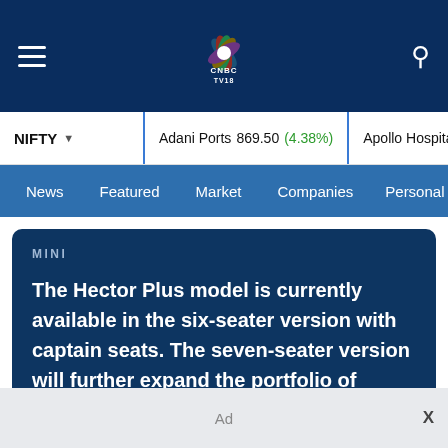CNBC TV18 navigation header with hamburger menu, logo, and search icon
NIFTY | Adani Ports 869.50 (4.38%) | Apollo Hospital 4135.90 (-3.8...)
News | Featured | Market | Companies | Personal Finance
MINI
The Hector Plus model is currently available in the six-seater version with captain seats. The seven-seater version will further expand the portfolio of Hector SUV model.
Ad